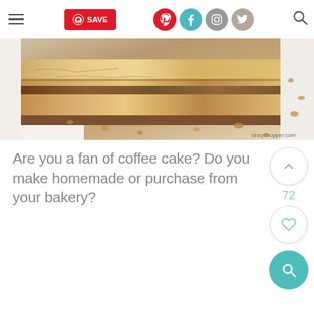≡ | SAVE | Pinterest | Facebook | Instagram | Twitter | Search
[Figure (photo): Close-up photo of a slice of coffee cake with crumb topping on a white surface, with crumbled pieces around it. Watermark reads cincyshopper.com]
Are you a fan of coffee cake? Do you make homemade or purchase from your bakery?